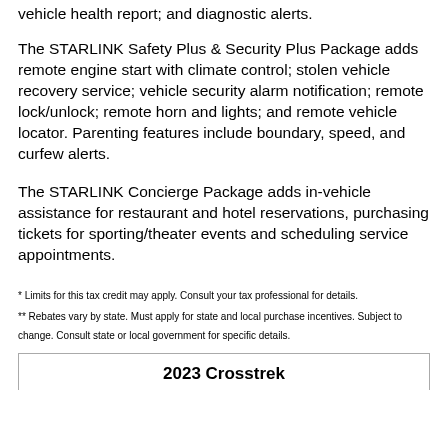vehicle health report; and diagnostic alerts.
The STARLINK Safety Plus & Security Plus Package adds remote engine start with climate control; stolen vehicle recovery service; vehicle security alarm notification; remote lock/unlock; remote horn and lights; and remote vehicle locator. Parenting features include boundary, speed, and curfew alerts.
The STARLINK Concierge Package adds in-vehicle assistance for restaurant and hotel reservations, purchasing tickets for sporting/theater events and scheduling service appointments.
* Limits for this tax credit may apply. Consult your tax professional for details.
** Rebates vary by state. Must apply for state and local purchase incentives. Subject to change. Consult state or local government for specific details.
2023 Crosstrek